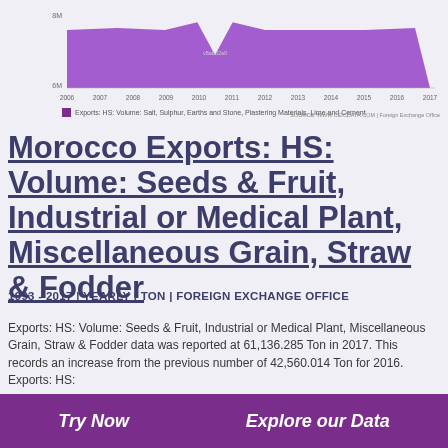[Figure (area-chart): Exports: HS: Volume: Salt, Sulphur, Earths and Stone, Plastering Materials, Lime and Cement]
Exports: HS: Volume: Salt, Sulphur, Earths and Stone, Plastering Materials, Lime and Cement
Morocco Exports: HS: Volume: Seeds & Fruit, Industrial or Medical Plant, Miscellaneous Grain, Straw & Fodder
1993 - 2017 | YEARLY | TON | FOREIGN EXCHANGE OFFICE
Exports: HS: Volume: Seeds & Fruit, Industrial or Medical Plant, Miscellaneous Grain, Straw & Fodder data was reported at 61,136.285 Ton in 2017. This records an increase from the previous number of 42,560.014 Ton for 2016. Exports: HS:
Try Now    Explore our Data